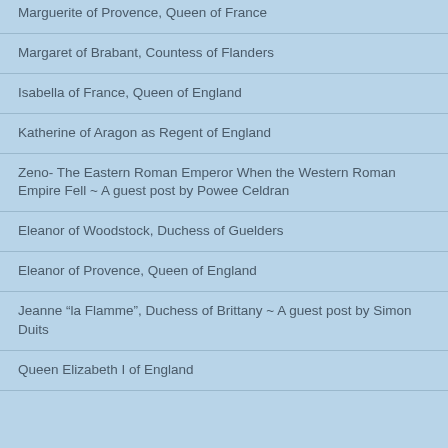Marguerite of Provence, Queen of France
Margaret of Brabant, Countess of Flanders
Isabella of France, Queen of England
Katherine of Aragon as Regent of England
Zeno- The Eastern Roman Emperor When the Western Roman Empire Fell ~ A guest post by Powee Celdran
Eleanor of Woodstock, Duchess of Guelders
Eleanor of Provence, Queen of England
Jeanne “la Flamme”, Duchess of Brittany ~ A guest post by Simon Duits
Queen Elizabeth I of England